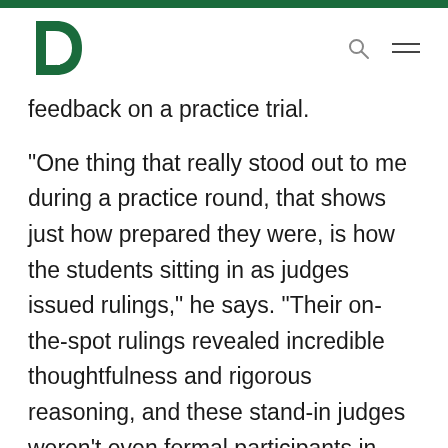Dartmouth logo, search icon, menu icon
feedback on a practice trial.
“One thing that really stood out to me during a practice round, that shows just how prepared they were, is how the students sitting in as judges issued rulings,” he says. “Their on-the-spot rulings revealed incredible thoughtfulness and rigorous reasoning, and these stand-in judges weren’t even formal participants in that practice round, they were just there